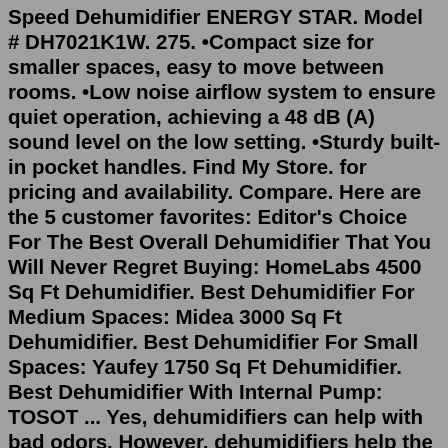Speed Dehumidifier ENERGY STAR. Model # DH7021K1W. 275. •Compact size for smaller spaces, easy to move between rooms. •Low noise airflow system to ensure quiet operation, achieving a 48 dB (A) sound level on the low setting. •Sturdy built-in pocket handles. Find My Store. for pricing and availability. Compare. Here are the 5 customer favorites: Editor's Choice For The Best Overall Dehumidifier That You Will Never Regret Buying: HomeLabs 4500 Sq Ft Dehumidifier. Best Dehumidifier For Medium Spaces: Midea 3000 Sq Ft Dehumidifier. Best Dehumidifier For Small Spaces: Yaufey 1750 Sq Ft Dehumidifier. Best Dehumidifier With Internal Pump: TOSOT ... Yes, dehumidifiers can help with bad odors. However, dehumidifiers help the most with specific odors. If the odor in your home is from mold or mildew, then a dehumidifier will help solve the problem. Dehumidifiers draw moisture from the air, and without enough moisture, mold spores and mildew cannot grow. As the mold spores are killed, that ...Grid List. 22 Products. $529.